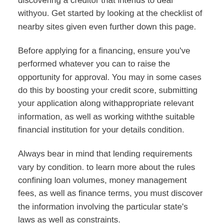discovering a creditor that intends to deal withyou. Get started by looking at the checklist of nearby sites given even further down this page.
Before applying for a financing, ensure you've performed whatever you can to raise the opportunity for approval. You may in some cases do this by boosting your credit score, submitting your application along withappropriate relevant information, as well as working withthe suitable financial institution for your details condition.
Always bear in mind that lending requirements vary by condition. to learn more about the rules confining loan volumes, money management fees, as well as finance terms, you must discover the information involving the particular state's laws as well as constraints.
Installment Loans in Manner
It is certainly not encouraged to borrow more than $500 by means of a payday advance. The good news is, many lending institutions give payment my cash now loans to those that call for higher financing volumes. An installment financing is usually for $1,000